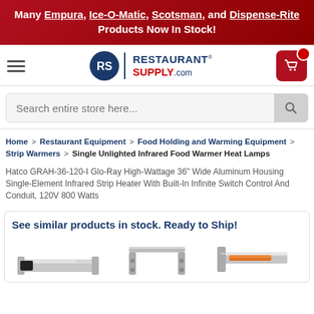Many Empura, Ice-O-Matic, Scotsman, and Dispense-Rite Products Now In Stock!
[Figure (logo): RestaurantSupply.com logo with RS circle emblem, hamburger menu, and cart icon]
Search entire store here...
Home > Restaurant Equipment > Food Holding and Warming Equipment > Strip Warmers > Single Unlighted Infrared Food Warmer Heat Lamps
Hatco GRAH-36-120-I Glo-Ray High-Wattage 36" Wide Aluminum Housing Single-Element Infrared Strip Heater With Built-In Infinite Switch Control And Conduit, 120V 800 Watts
See similar products in stock. Ready to Ship!
[Figure (photo): Three product images of infrared strip heaters shown in a row]